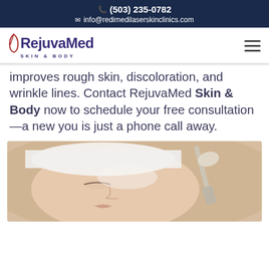(503) 235-0782
info@redimedilaserskinclinics.com
[Figure (logo): RejuvaMed Skin & Body logo with hamburger menu icon]
improves rough skin, discoloration, and wrinkle lines. Contact RejuvaMed Skin & Body now to schedule your free consultation—a new you is just a phone call away.
[Figure (photo): Woman receiving a facial skin treatment with a brush applicator, wearing a white headband, eyes closed]